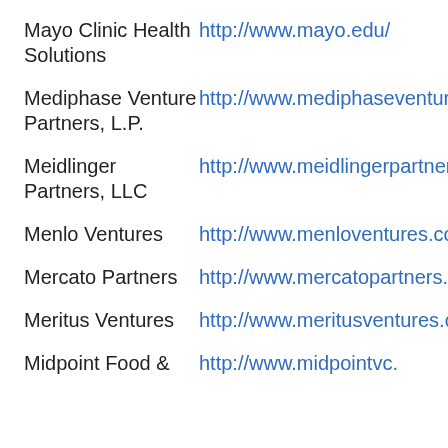Mayo Clinic Health Solutions	http://www.mayo.edu/
Mediphase Venture Partners, L.P.	http://www.mediphaseventure.c
Meidlinger Partners, LLC	http://www.meidlingerpartners.
Menlo Ventures	http://www.menloventures.com
Mercato Partners	http://www.mercatopartners.co
Meritus Ventures	http://www.meritusventures.com
Midpoint Food &	http://www.midpointvc.